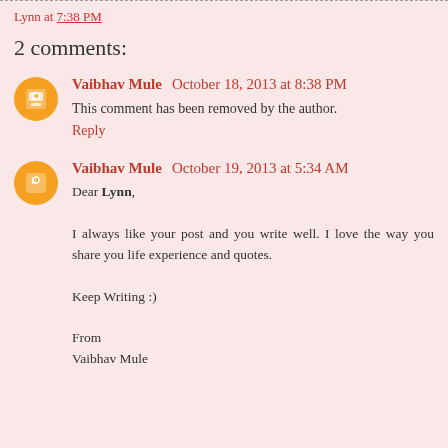Lynn at 7:38 PM
2 comments:
Vaibhav Mule  October 18, 2013 at 8:38 PM
This comment has been removed by the author.
Reply
Vaibhav Mule  October 19, 2013 at 5:34 AM
Dear Lynn,

I always like your post and you write well. I love the way you share you life experience and quotes.

Keep Writing :)

From
Vaibhav Mule